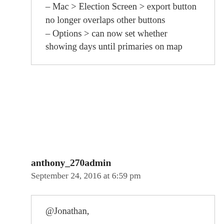– Mac > Election Screen > export button no longer overlaps other buttons
– Options > can now set whether showing days until primaries on map
anthony_270admin
September 24, 2016 at 6:59 pm
@Jonathan,

I found a bug in the debate code that might have been causing this. Fixed in latest internal.